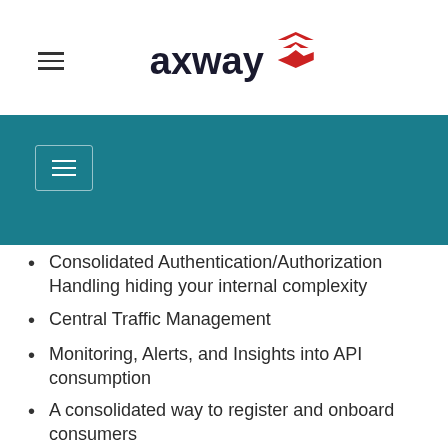axway
[Figure (logo): Axway logo with red arrow/chevron icon and bold text 'axway']
Consolidated Authentication/Authorization Handling hiding your internal complexity
Central Traffic Management
Monitoring, Alerts, and Insights into API consumption
A consolidated way to register and onboard consumers
A way to implement effective versioning strategies